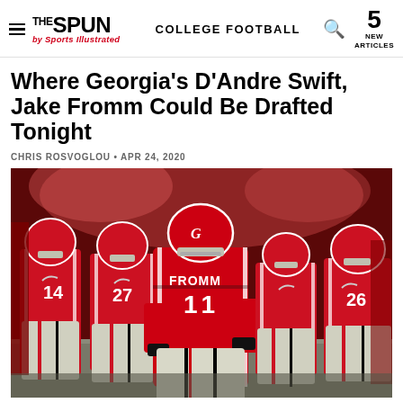THE SPUN by Sports Illustrated | COLLEGE FOOTBALL | 5 NEW ARTICLES
Where Georgia's D'Andre Swift, Jake Fromm Could Be Drafted Tonight
CHRIS ROSVOGLOU • APR 24, 2020
[Figure (photo): Georgia Bulldogs football players in red uniforms on field, with quarterback Jake Fromm (#11, FROMM on jersey) in foreground, teammates including #14, #27, #26 visible behind him]